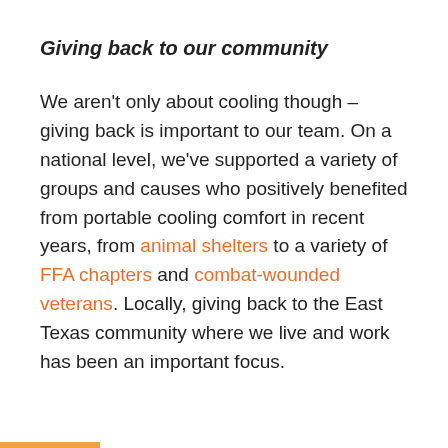Giving back to our community
We aren't only about cooling though – giving back is important to our team. On a national level, we've supported a variety of groups and causes who positively benefited from portable cooling comfort in recent years, from animal shelters to a variety of FFA chapters and combat-wounded veterans. Locally, giving back to the East Texas community where we live and work has been an important focus.